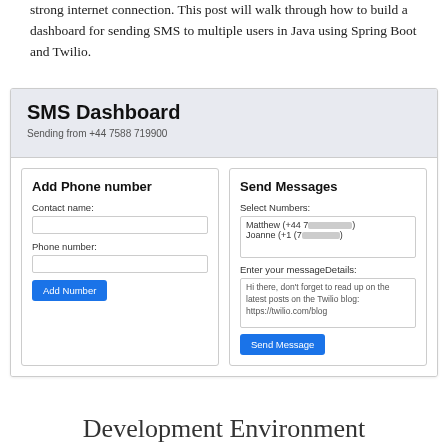strong internet connection. This post will walk through how to build a dashboard for sending SMS to multiple users in Java using Spring Boot and Twilio.
[Figure (screenshot): Screenshot of an SMS Dashboard web application. The top section shows 'SMS Dashboard' as the heading with 'Sending from +44 7588 719900' as subtitle on a light grey background. Below are two panels side by side: 'Add Phone number' panel with 'Contact name:' text input, 'Phone number:' text input, and a blue 'Add Number' button; and 'Send Messages' panel with 'Select Numbers:' showing a list box with 'Matthew (+44 7... [redacted])' and 'Joanne (+1 (7... [redacted]))', 'Enter your messageDetails:' label, a textarea with sample text about reading Twilio blog, and a blue 'Send Message' button.]
Development Environment